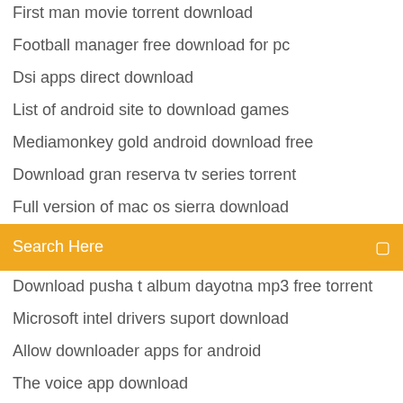First man movie torrent download
Football manager free download for pc
Dsi apps direct download
List of android site to download games
Mediamonkey gold android download free
Download gran reserva tv series torrent
Full version of mac os sierra download
Search Here
Download pusha t album dayotna mp3 free torrent
Microsoft intel drivers suport download
Allow downloader apps for android
The voice app download
Dark blue suit pdf download
Dissidia 1.6.3 download pc
Sixaxis ps3 driver download
Text file of all english words download
Incoming transmission making of the rave torrent download